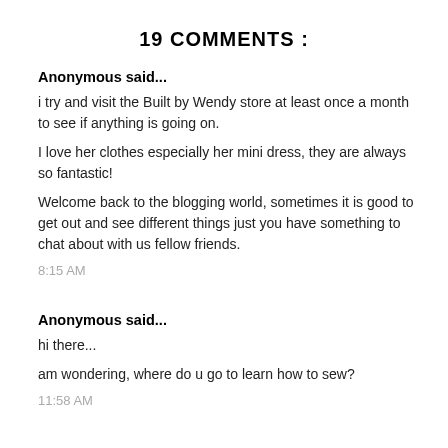19 COMMENTS :
Anonymous said...
i try and visit the Built by Wendy store at least once a month to see if anything is going on.
I love her clothes especially her mini dress, they are always so fantastic!
Welcome back to the blogging world, sometimes it is good to get out and see different things just you have something to chat about with us fellow friends.
8:15 AM
Anonymous said...
hi there...
am wondering, where do u go to learn how to sew?
11:58 AM